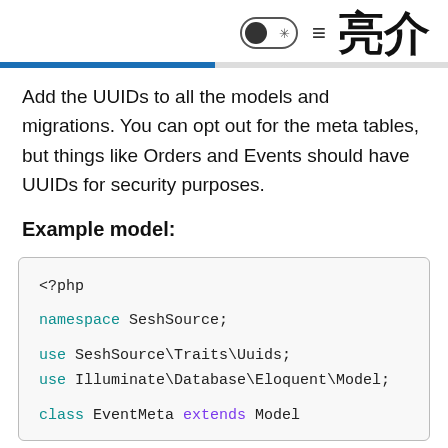亮介
Add the UUIDs to all the models and migrations. You can opt out for the meta tables, but things like Orders and Events should have UUIDs for security purposes.
Example model:
<?php

namespace SeshSource;

use SeshSource\Traits\Uuids;
use Illuminate\Database\Eloquent\Model;

class EventMeta extends Model